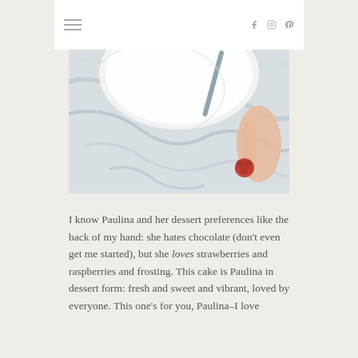≡  f  ☐  ⊕
[Figure (photo): A white plate held by a hand over a marble surface, with a red raspberry visible on the marble surface.]
I know Paulina and her dessert preferences like the back of my hand: she hates chocolate (don't even get me started), but she loves strawberries and raspberries and frosting. This cake is Paulina in dessert form: fresh and sweet and vibrant, loved by everyone. This one's for you, Paulina–I love